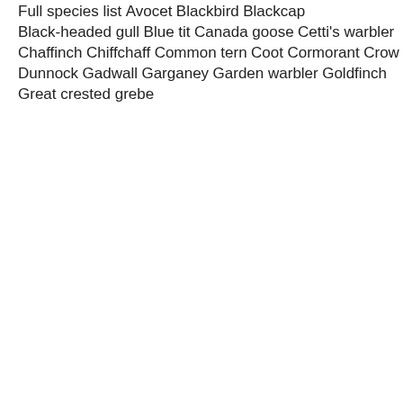Full species list
Avocet
Blackbird
Blackcap
Black-headed gull
Blue tit
Canada goose
Cetti's warbler
Chaffinch
Chiffchaff
Common tern
Coot
Cormorant
Crow
Dunnock
Gadwall
Garganey
Garden warbler
Goldfinch
Great crested grebe